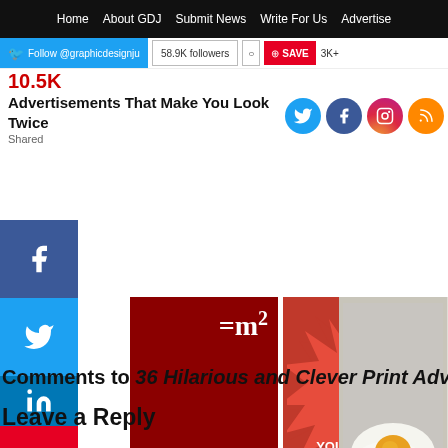Home | About GDJ | Submit News | Write For Us | Advertise
Follow @graphicdesignju | 58.9K followers | SAVE | 3K+
10.5K
Advertisements That Make You Look Twice
Shared
[Figure (other): Social media icons: Twitter, Facebook, Instagram, RSS]
[Figure (other): Side share buttons: Facebook, Twitter, LinkedIn, Pinterest, More (+)]
[Figure (other): Thumbnail: Creative Print Ads with formula =mc^2 overlay]
Advertising 37 Creative Examples
[Figure (other): Thumbnail: Explosion starburst with text 'YOU SON OF A BITCH!!']
35 Most Popular Award Winning Print Advertisements
[Figure (other): Thumbnail: Fried egg on dark surface]
50 World's Best Products Print Ads
Comments to 36 Hilarious and Clever Print Advertisements
Leave a Reply